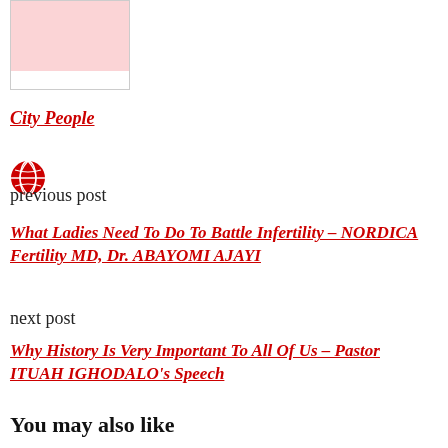[Figure (illustration): Small image placeholder box with red fill area]
City People
[Figure (other): Red globe/earth icon for previous post navigation]
previous post
What Ladies Need To Do To Battle Infertility – NORDICA Fertility MD, Dr. ABAYOMI AJAYI
next post
Why History Is Very Important To All Of Us – Pastor ITUAH IGHODALO's Speech
You may also like